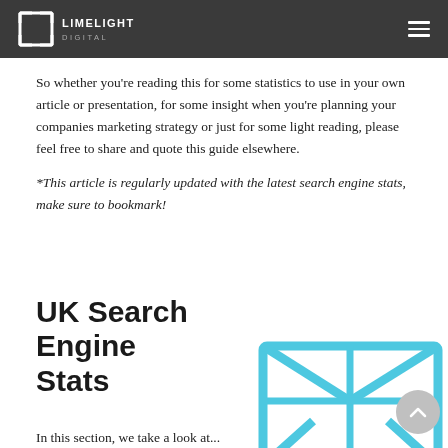LIMELIGHT DIGITAL
So whether you’re reading this for some statistics to use in your own article or presentation, for some insight when you’re planning your companies marketing strategy or just for some light reading, please feel free to share and quote this guide elsewhere.
*This article is regularly updated with the latest search engine stats, make sure to bookmark!
UK Search Engine Stats
[Figure (illustration): Cyan/teal envelope icon illustration, partially visible at bottom right of page]
In this section, we take a look at...